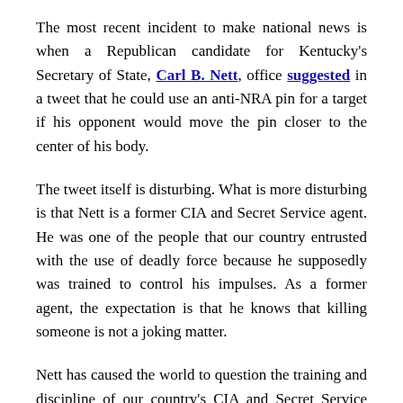The most recent incident to make national news is when a Republican candidate for Kentucky's Secretary of State, Carl B. Nett, office suggested in a tweet that he could use an anti-NRA pin for a target if his opponent would move the pin closer to the center of his body.
The tweet itself is disturbing. What is more disturbing is that Nett is a former CIA and Secret Service agent. He was one of the people that our country entrusted with the use of deadly force because he supposedly was trained to control his impulses. As a former agent, the expectation is that he knows that killing someone is not a joking matter.
Nett has caused the world to question the training and discipline of our country's CIA and Secret Service agents. He has made all of them look like